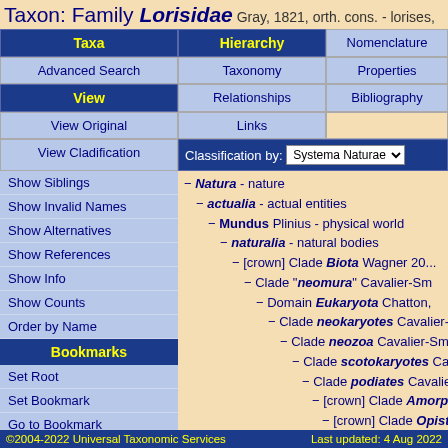Taxon: Family Lorisidae Gray, 1821, orth. cons. - lorises,
| Taxa | Hierarchy | Nomenclature |
| --- | --- | --- |
| Advanced Search | Taxonomy | Properties |
| View | Relationships | Bibliography |
| View Original | Links |  |
| View Cladification | Classification by: Systema Naturae |  |
| Show Siblings |  |  |
| Show Invalid Names |  |  |
| Show Alternatives |  |  |
| Show References |  |  |
| Show Info |  |  |
| Show Counts |  |  |
| Order by Name |  |  |
| Bookmarks |  |  |
| Set Root |  |  |
| Set Bookmark |  |  |
| Go to Bookmark |  |  |
| Pin Bookmark |  |  |
− Natura - nature
− actualia - actual entities
− Mundus Plinius - physical world
− naturalia - natural bodies
− [crown] Clade Biota Wagner 20...
− Clade "neomura" Cavalier-Sm...
− Domain Eukaryota Chatton,...
− Clade neokaryotes Cavalier-...
− Clade neozoa Cavalier-Smi...
− Clade scotokaryotes Cav...
− Clade podiates Cavalier-...
− [crown] Clade Amorp...
− [crown] Clade Opist...
− Superkingdom Hok...
©2004-2022 Universal Taxonomic Services    Last updated: 4 Aug 2022